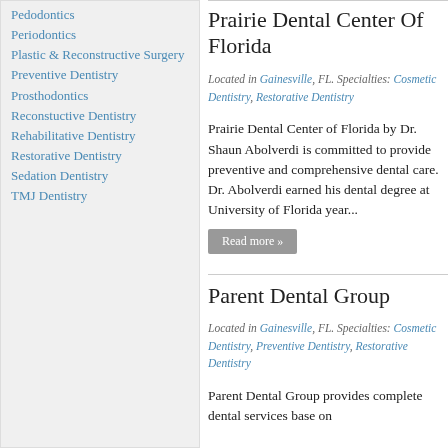Pedodontics
Periodontics
Plastic & Reconstructive Surgery
Preventive Dentistry
Prosthodontics
Reconstuctive Dentistry
Rehabilitative Dentistry
Restorative Dentistry
Sedation Dentistry
TMJ Dentistry
Prairie Dental Center Of Florida
Located in Gainesville, FL. Specialties: Cosmetic Dentistry, Restorative Dentistry
Prairie Dental Center of Florida by Dr. Shaun Abolverdi is committed to provide preventive and comprehensive dental care. Dr. Abolverdi earned his dental degree at University of Florida year...
Parent Dental Group
Located in Gainesville, FL. Specialties: Cosmetic Dentistry, Preventive Dentistry, Restorative Dentistry
Parent Dental Group provides complete dental services base on